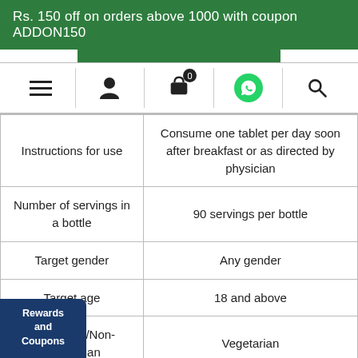Rs. 150 off on orders above 1000 with coupon ADDON150
[Figure (other): Navigation bar with hamburger menu, user icon, shopping cart with badge 0, WhatsApp icon, and search icon]
| Instructions for use | Consume one tablet per day soon after breakfast or as directed by physician |
| Number of servings in a bottle | 90 servings per bottle |
| Target gender | Any gender |
| Target age | 18 and above |
| Vegetarian/Non-Vegetarian | Vegetarian |
| Country of Origin | India |